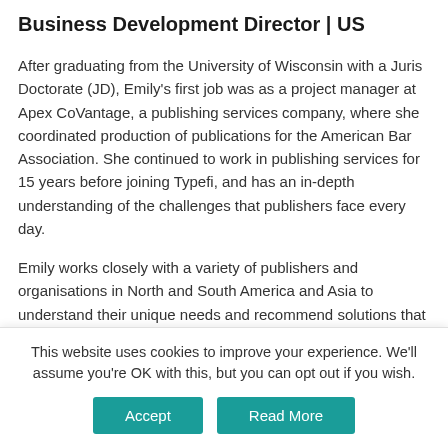Business Development Director | US
After graduating from the University of Wisconsin with a Juris Doctorate (JD), Emily's first job was as a project manager at Apex CoVantage, a publishing services company, where she coordinated production of publications for the American Bar Association. She continued to work in publishing services for 15 years before joining Typefi, and has an in-depth understanding of the challenges that publishers face every day.
Emily works closely with a variety of publishers and organisations in North and South America and Asia to understand their unique needs and recommend solutions that will optimise publishing and streamline the production...
This website uses cookies to improve your experience. We'll assume you're OK with this, but you can opt out if you wish.